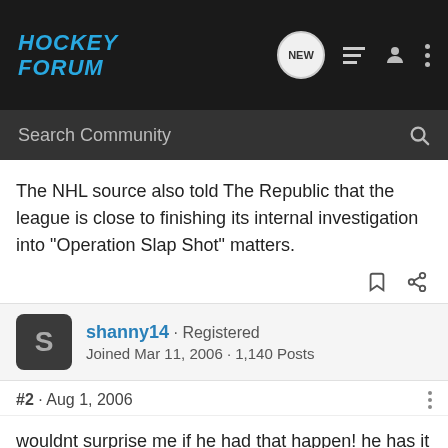HOCKEY FORUM
Search Community
The NHL source also told The Republic that the league is close to finishing its internal investigation into "Operation Slap Shot" matters.
shanny14 · Registered
Joined Mar 11, 2006 · 1,140 Posts
#2 · Aug 1, 2006
wouldnt surprise me if he had that happen! he has it coming! so did gretzky, but that got swept under the rug! LITERALLY! 😡